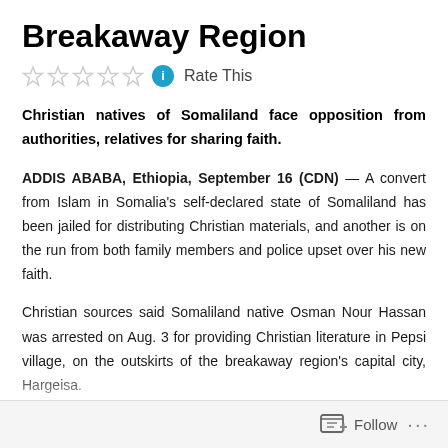Breakaway Region
Rate This
Christian natives of Somaliland face opposition from authorities, relatives for sharing faith.
ADDIS ABABA, Ethiopia, September 16 (CDN) — A convert from Islam in Somalia's self-declared state of Somaliland has been jailed for distributing Christian materials, and another is on the run from both family members and police upset over his new faith.
Christian sources said Somaliland native Osman Nour Hassan was arrested on Aug. 3 for providing Christian literature in Pepsi village, on the outskirts of the breakaway region's capital city, Hargeisa.
Promotion of any religion other than Islam in Somaliland is prohibited
Follow